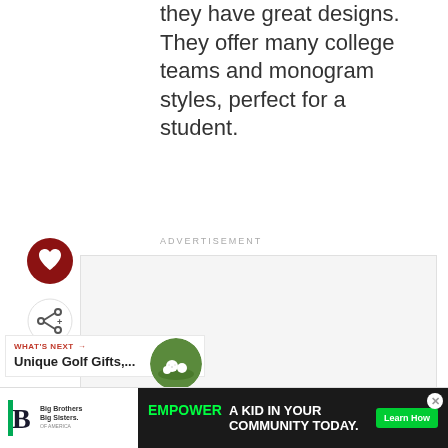they have great designs. They offer many college teams and monogram styles, perfect for a student.
ADVERTISEMENT
[Figure (other): Empty advertisement placeholder box with light gray background]
[Figure (illustration): Dark red circular heart/favorite button icon]
[Figure (illustration): Share button icon]
WHAT'S NEXT → Unique Golf Gifts,...
[Figure (photo): Circular thumbnail photo of golf balls on grass]
[Figure (other): Bottom advertisement banner: Big Brothers Big Sisters logo on left; dark background with text 'EMPOWER A KID IN YOUR COMMUNITY TODAY.' and green 'Learn How' button on right]